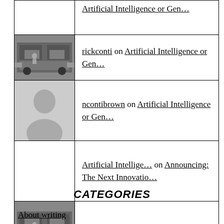Artificial Intelligence or Gen…
rickconti on Artificial Intelligence or Gen…
ncontibrown on Artificial Intelligence or Gen…
Artificial Intellige… on Announcing: The Next Innovatio…
rickconti on Modern movie clichés…
CATEGORIES
About writing